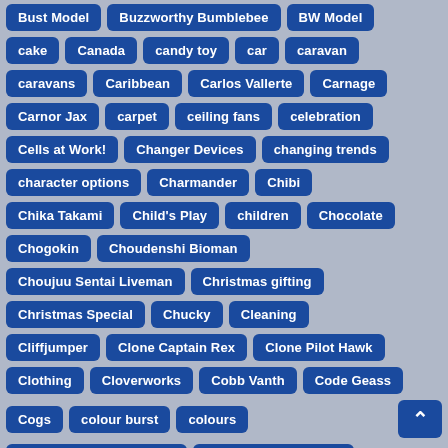Bust Model
Buzzworthy Bumblebee
BW Model
cake
Canada
candy toy
car
caravan
caravans
Caribbean
Carlos Vallerte
Carnage
Carnor Jax
carpet
ceiling fans
celebration
Cells at Work!
Changer Devices
changing trends
character options
Charmander
Chibi
Chika Takami
Child's Play
children
Chocolate
Chogokin
Choudenshi Bioman
Choujuu Sentai Liveman
Christmas gifting
Christmas Special
Chucky
Cleaning
Cliffjumper
Clone Captain Rex
Clone Pilot Hawk
Clothing
Cloverworks
Cobb Vanth
Code Geass
Cogs
colour burst
colours
Combat Mecha Xabungle
comfort and elegance